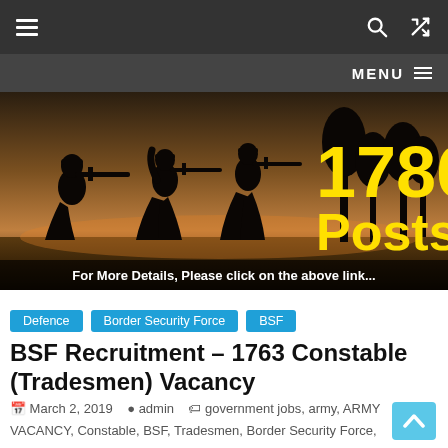Navigation bar with hamburger menu, search and shuffle icons, and MENU bar
[Figure (photo): Hero image showing silhouettes of military/BSF soldiers in action against a warm-toned background, with large yellow bold text '1786 Posts' and caption 'For More Details, Please click on the above link...' at the bottom]
Defence
Border Security Force
BSF
BSF Recruitment – 1763 Constable (Tradesmen) Vacancy
March 2, 2019  admin  government jobs, army, ARMY VACANCY, Constable, BSF, Tradesmen, Border Security Force, government, Vacancy, BSF Recruitment